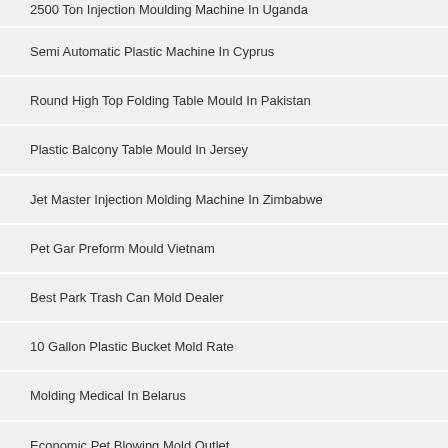2500 Ton Injection Moulding Machine In Uganda
Semi Automatic Plastic Machine In Cyprus
Round High Top Folding Table Mould In Pakistan
Plastic Balcony Table Mould In Jersey
Jet Master Injection Molding Machine In Zimbabwe
Pet Gar Preform Mould Vietnam
Best Park Trash Can Mold Dealer
10 Gallon Plastic Bucket Mold Rate
Molding Medical In Belarus
Economic Pet Blowing Mold Outlet